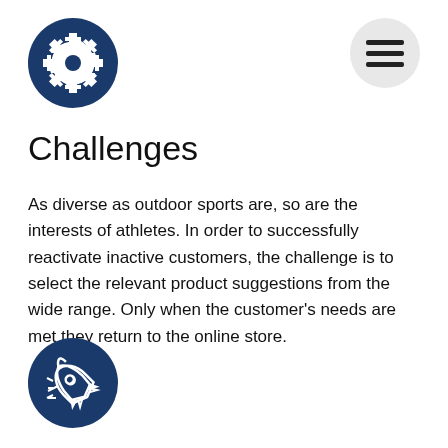[Figure (illustration): Dark blue circle with a white gear/settings icon]
[Figure (illustration): Light gray circle with three horizontal lines (hamburger menu icon)]
Challenges
As diverse as outdoor sports are, so are the interests of athletes. In order to successfully reactivate inactive customers, the challenge is to select the relevant product suggestions from the wide range. Only when the customer's needs are met they return to the online store.
[Figure (illustration): Dark blue circle with a white rocket/launch icon]